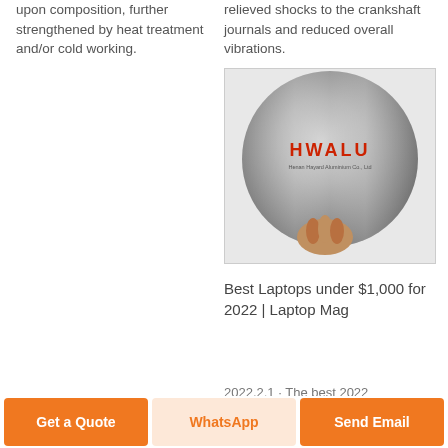upon composition, further strengthened by heat treatment and/or cold working.
relieved shocks to the crankshaft journals and reduced overall vibrations.
[Figure (photo): A round polished aluminum disc being held by a hand. The disc has 'HWALU' printed in red text in the center, with 'Henan Hayard Aluminium Co., Ltd' in smaller text below. The disc is shiny and metallic.]
Best Laptops under $1,000 for 2022 | Laptop Mag
2022.2.1 · The best 2022
Get a Quote
WhatsApp
Send Email